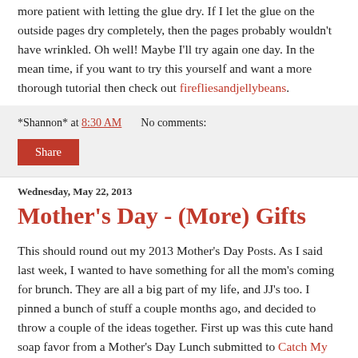more patient with letting the glue dry. If I let the glue on the outside pages dry completely, then the pages probably wouldn't have wrinkled. Oh well! Maybe I'll try again one day. In the mean time, if you want to try this yourself and want a more thorough tutorial then check out firefliesandjellybeans.
*Shannon* at 8:30 AM   No comments:
Share
Wednesday, May 22, 2013
Mother's Day - (More) Gifts
This should round out my 2013 Mother's Day Posts. As I said last week, I wanted to have something for all the mom's coming for brunch. They are all a big part of my life, and JJ's too. I pinned a bunch of stuff a couple months ago, and decided to throw a couple of the ideas together. First up was this cute hand soap favor from a Mother's Day Lunch submitted to Catch My Party.